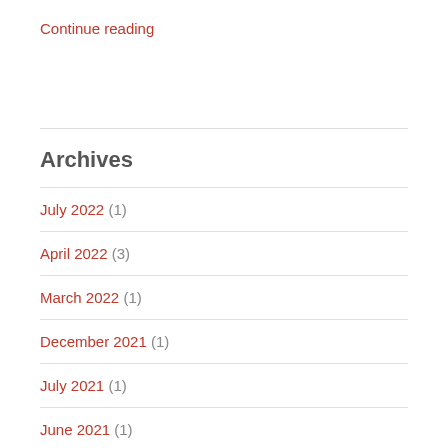Continue reading
Archives
July 2022 (1)
April 2022 (3)
March 2022 (1)
December 2021 (1)
July 2021 (1)
June 2021 (1)